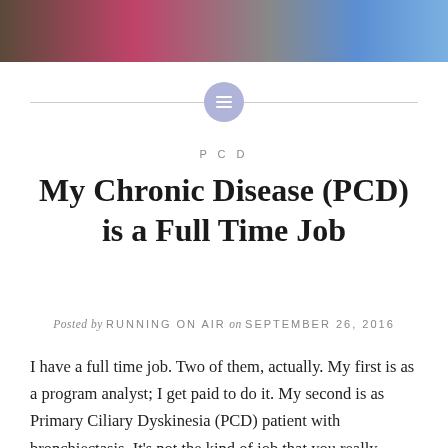[Figure (photo): A partial photograph of people, cropped at the top of the page showing clothing in pink, grey, and blue colors against a striped background.]
PCD
My Chronic Disease (PCD) is a Full Time Job
Posted by RUNNING ON AIR on SEPTEMBER 26, 2016
I have a full time job. Two of them, actually. My first is as a program analyst; I get paid to do it. My second is as Primary Ciliary Dyskinesia (PCD) patient with bronchiectasis. It's not the kind of job that you really chose, and you don't get to